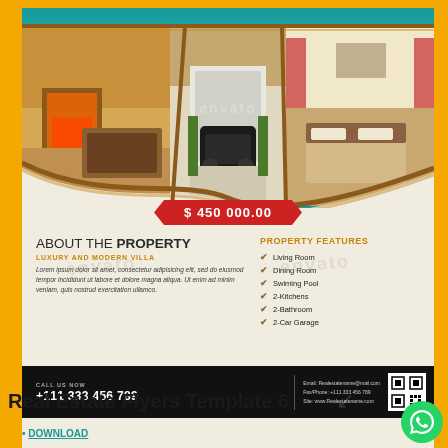[Figure (photo): Real estate flyer template showing three interior photos (living room, garage, bedroom) in a collage with wood-framed curved design, teal background]
$ 450 000.00
ABOUT THE PROPERTY
LUXURY AND MODERN VILLA
Lorem ipsum dolor sit amet, consectetur adipisicing elit, sed do eiusmod tempor incididunt ut labore et dolore magna aliqua. Ut enim ad minim veniam, quis nostrud exercitation ullamco.
PROPERTY FEATURES
Living Room
Dining Room
Swiming Pool
2-Kitchens
2-Bathroom
2-Car Garage
CALL US NOW +111 333 456 789
Email: Realestatename@mail.com
Fax/Phone: +111 333 456 789
Site: www.Realestatename.com
Real Estate Flyers Template 6
DOWNLOAD